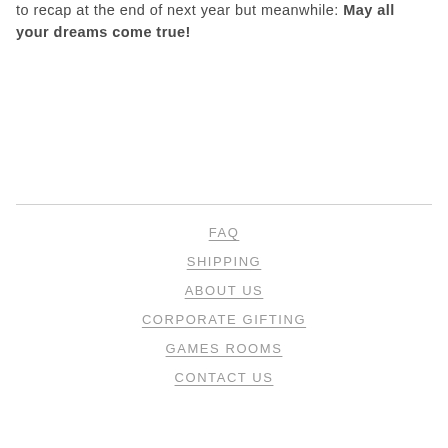to recap at the end of next year but meanwhile: May all your dreams come true!
FAQ
SHIPPING
ABOUT US
CORPORATE GIFTING
GAMES ROOMS
CONTACT US